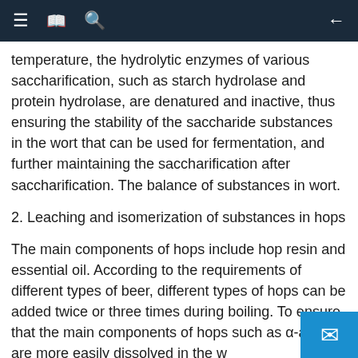≡ 🔖 🔍 ←
temperature, the hydrolytic enzymes of various saccharification, such as starch hydrolase and protein hydrolase, are denatured and inactive, thus ensuring the stability of the saccharide substances in the wort that can be used for fermentation, and further maintaining the saccharification after saccharification. The balance of substances in wort.
2. Leaching and isomerization of substances in hops
The main components of hops include hop resin and essential oil. According to the requirements of different types of beer, different types of hops can be added twice or three times during boiling. To ensure that the main components of hops such as α-acid are more easily dissolved in the w...